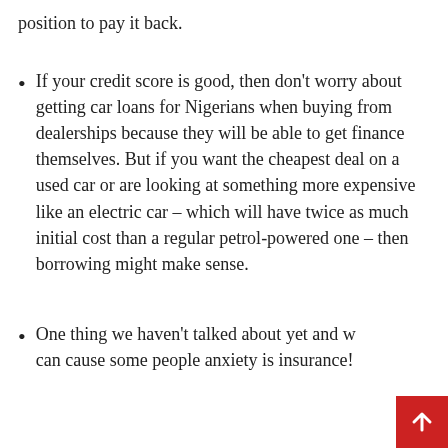position to pay it back.
If your credit score is good, then don't worry about getting car loans for Nigerians when buying from dealerships because they will be able to get finance themselves. But if you want the cheapest deal on a used car or are looking at something more expensive like an electric car – which will have twice as much initial cost than a regular petrol-powered one – then borrowing might make sense.
One thing we haven't talked about yet and w can cause some people anxiety is insurance!